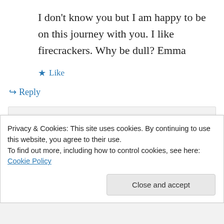I don't know you but I am happy to be on this journey with you. I like firecrackers. Why be dull? Emma
★ Like
↪ Reply
upwithmarc on September 11, 2013 at 7:41 PM
Emma, you have certainly been an
Privacy & Cookies: This site uses cookies. By continuing to use this website, you agree to their use.
To find out more, including how to control cookies, see here: Cookie Policy
Close and accept